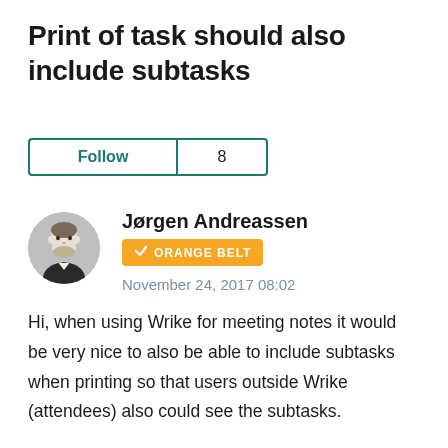Print of task should also include subtasks
Follow 8
Jørgen Andreassen
ORANGE BELT
November 24, 2017 08:02
Hi, when using Wrike for meeting notes it would be very nice to also be able to include subtasks when printing so that users outside Wrike (attendees) also could see the subtasks.